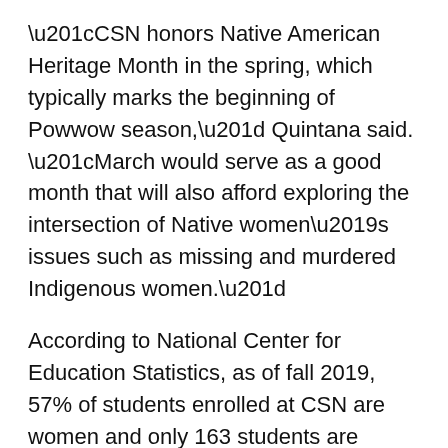“CSN honors Native American Heritage Month in the spring, which typically marks the beginning of Powwow season,” Quintana said. “March would serve as a good month that will also afford exploring the intersection of Native women’s issues such as missing and murdered Indigenous women.”
According to National Center for Education Statistics, as of fall 2019, 57% of students enrolled at CSN are women and only 163 students are Native Americans and Alaskan natives. Representation of these students matters and was the focus of this month’s celebration.
Women’s rights and Native American rights did not always work together as the movements had different priorities.
“The women’s rights movement has been almost